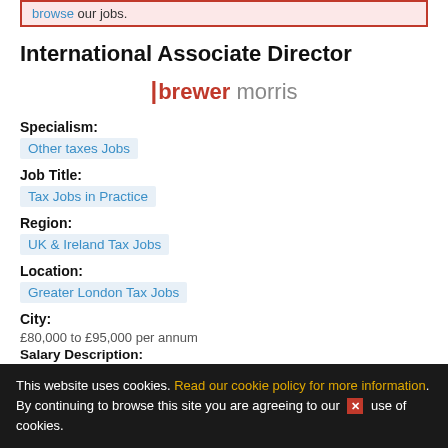browse our jobs.
International Associate Director
[Figure (logo): Brewer Morris logo with red vertical bar, 'brewer' in red bold and 'morris' in grey]
Specialism:
Other taxes Jobs
Job Title:
Tax Jobs in Practice
Region:
UK & Ireland Tax Jobs
Location:
Greater London Tax Jobs
City:
£80,000 to £95,000 per annum
Salary Description:
This website uses cookies. Read our cookie policy for more information. By continuing to browse this site you are agreeing to our use of cookies.